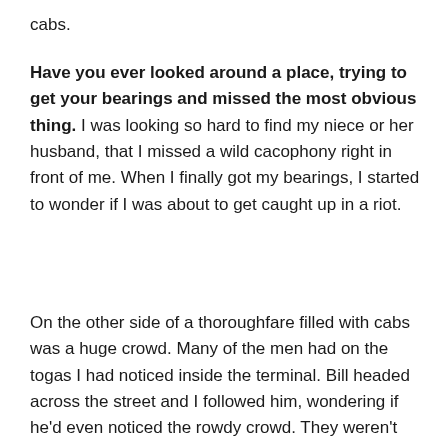cabs.
Have you ever looked around a place, trying to get your bearings and missed the most obvious thing.  I was looking so hard to find my niece or her husband, that I missed a wild cacophony right in front of me.  When I finally got my bearings, I started to wonder if I was about to get caught up in a riot.
On the other side of a thoroughfare filled with cabs was a huge crowd.  Many of the men had on the togas I had noticed inside the terminal.  Bill headed across the street and I followed him, wondering if he'd even noticed the rowdy crowd.  They weren't rowdy in a soccer fan kind of way, it was more purposeful and less emotional, but nonetheless quite loud.  What a kaleidoscope of sight and sound to begin our sojourn in Egypt!